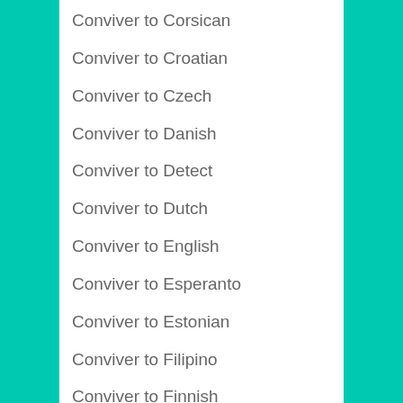Conviver to Corsican
Conviver to Croatian
Conviver to Czech
Conviver to Danish
Conviver to Detect
Conviver to Dutch
Conviver to English
Conviver to Esperanto
Conviver to Estonian
Conviver to Filipino
Conviver to Finnish
Conviver to French
Conviver to Frisian
Conviver to Galician